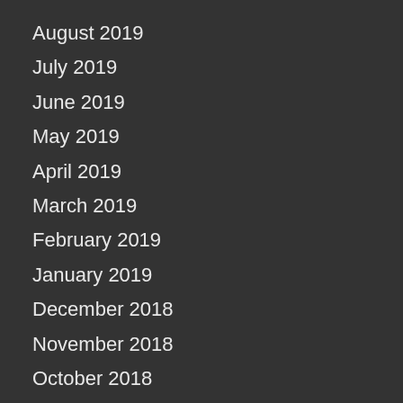August 2019
July 2019
June 2019
May 2019
April 2019
March 2019
February 2019
January 2019
December 2018
November 2018
October 2018
September 2018